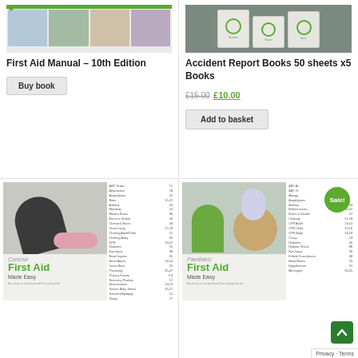[Figure (photo): First Aid Manual 10th Edition book cover with green bar and strip of first aid photos (eye care, ear care, sling, CPR)]
First Aid Manual – 10th Edition
Buy book
[Figure (photo): Accident Report Books photo – white booklets on dark background]
Accident Report Books 50 sheets x5 Books
£15.00 £10.00
Add to basket
[Figure (photo): Concise First Aid Made Easy book cover showing woman performing CPR on child, with table of contents on right panel]
[Figure (photo): Paediatric First Aid Made Easy book cover showing two children playing doctor with teddy bear, Sale badge visible, with table of contents on right panel]
Privacy - Terms